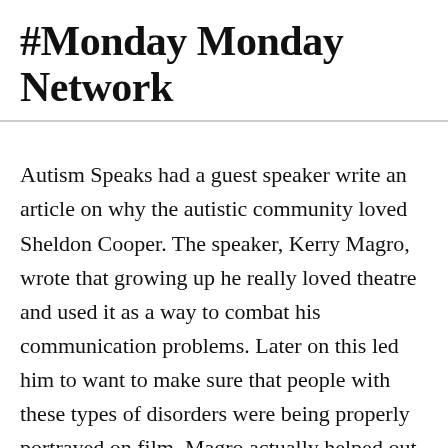#Monday Monday Network
Autism Speaks had a guest speaker write an article on why the autistic community loved Sheldon Cooper. The speaker, Kerry Magro, wrote that growing up he really loved theatre and used it as a way to combat his communication problems. Later on this led him to want to make sure that people with these types of disorders were being properly portrayed on film. Magro actually helped out with the film, Joyful Noise, which had a character with Asperger's.
Kerry goes on to say that he has received